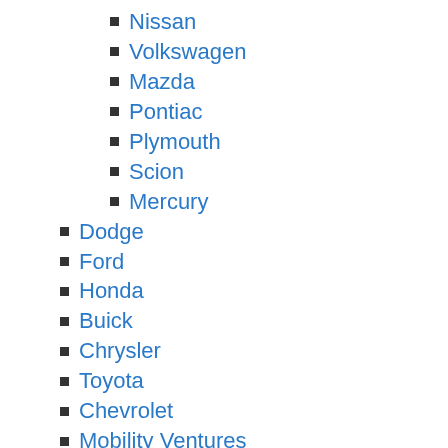Nissan
Volkswagen
Mazda
Pontiac
Plymouth
Scion
Mercury
Dodge
Ford
Honda
Buick
Chrysler
Toyota
Chevrolet
Mobility Ventures
Kia
GMC
Ram